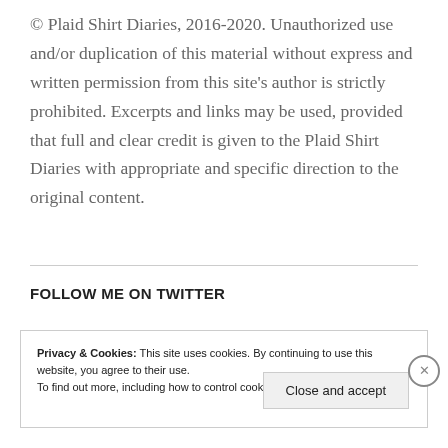© Plaid Shirt Diaries, 2016-2020. Unauthorized use and/or duplication of this material without express and written permission from this site's author is strictly prohibited. Excerpts and links may be used, provided that full and clear credit is given to the Plaid Shirt Diaries with appropriate and specific direction to the original content.
FOLLOW ME ON TWITTER
Privacy & Cookies: This site uses cookies. By continuing to use this website, you agree to their use. To find out more, including how to control cookies, see here: Cookie Policy
Close and accept